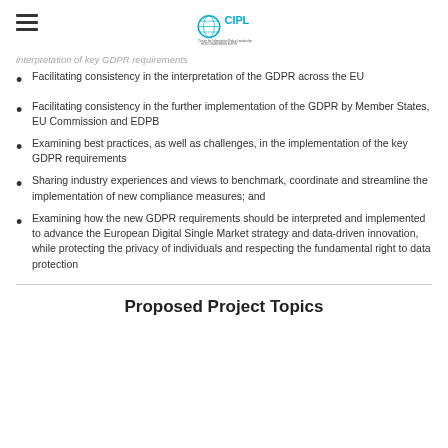CIPL logo and hamburger menu
interpretation of key GDPR requirements
Facilitating consistency in the interpretation of the GDPR across the EU
Facilitating consistency in the further implementation of the GDPR by Member States, EU Commission and EDPB
Examining best practices, as well as challenges, in the implementation of the key GDPR requirements
Sharing industry experiences and views to benchmark, coordinate and streamline the implementation of new compliance measures; and
Examining how the new GDPR requirements should be interpreted and implemented to advance the European Digital Single Market strategy and data-driven innovation, while protecting the privacy of individuals and respecting the fundamental right to data protection
Proposed Project Topics